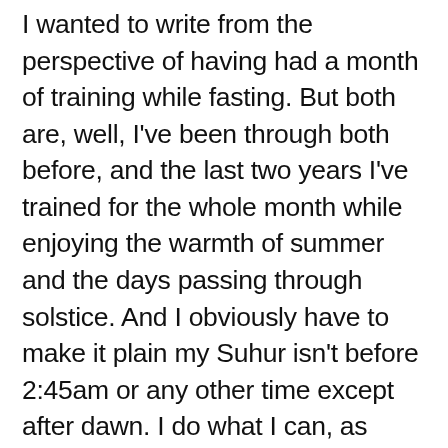I wanted to write from the perspective of having had a month of training while fasting. But both are, well, I've been through both before, and the last two years I've trained for the whole month while enjoying the warmth of summer and the days passing through solstice. And I obviously have to make it plain my Suhur isn't before 2:45am or any other time except after dawn. I do what I can, as early as I can, if for no other reason than to remember my family, my dad, my babanna Aişe. I think it's Ramadan, and if others want to say it's not, or say it's bid'ah, then it's not, and it's bid'ah. I know what 14 and more hours of fasting feels like, after 30 days in Berlin summer, when the sun sets at 9:30 and the sky never really gets dark.